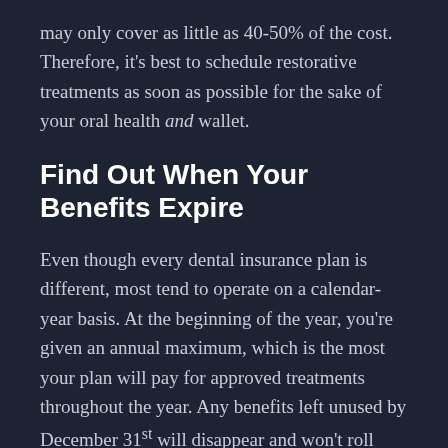may only cover as little as 40-50% of the cost. Therefore, it's best to schedule restorative treatments as soon as possible for the sake of your oral health and wallet.
Find Out When Your Benefits Expire
Even though every dental insurance plan is different, most tend to operate on a calendar-year basis. At the beginning of the year, you're given an annual maximum, which is the most your plan will pay for approved treatments throughout the year. Any benefits left unused by December 31st will disappear and won't roll over into the new year. That said, it's a good idea to schedule any outstanding dental work